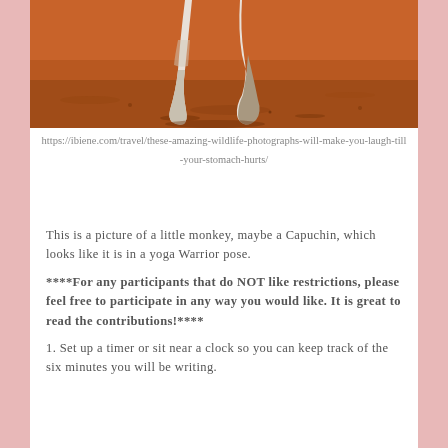[Figure (photo): Close-up photo of animal legs (likely a monkey or bird) walking on reddish sandy ground]
https://ibiene.com/travel/these-amazing-wildlife-photographs-will-make-you-laugh-till-your-stomach-hurts/
This is a picture of a little monkey, maybe a Capuchin, which looks like it is in a yoga Warrior pose.
****For any participants that do NOT like restrictions, please feel free to participate in any way you would like. It is great to read the contributions!****
1. Set up a timer or sit near a clock so you can keep track of the six minutes you will be writing.